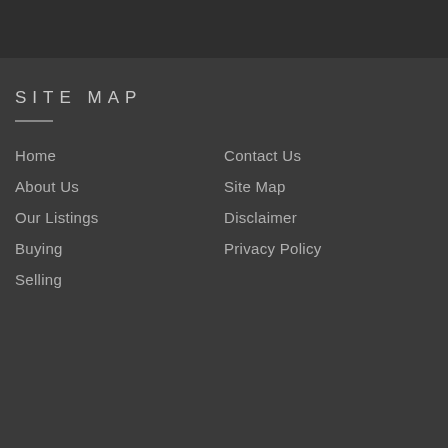SITE MAP
Home
About Us
Our Listings
Buying
Selling
Contact Us
Site Map
Disclaimer
Privacy Policy